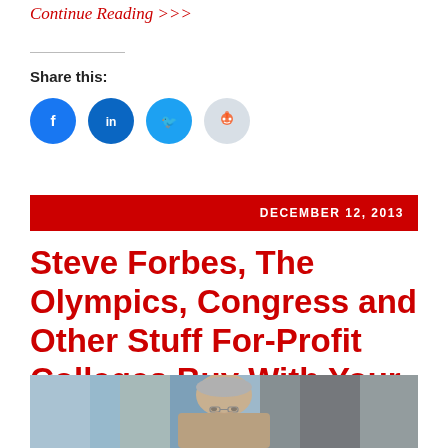Continue Reading >>>
Share this:
[Figure (other): Social sharing icons: Facebook, LinkedIn, Twitter, Reddit]
DECEMBER 12, 2013
Steve Forbes, The Olympics, Congress and Other Stuff For-Profit Colleges Buy With Your Tax Dollars
[Figure (photo): Photo of a man with grey hair wearing glasses, blurred background with blue and brown tones]